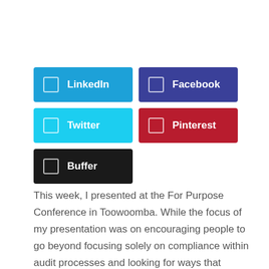[Figure (infographic): Social media share buttons: LinkedIn (blue), Facebook (dark blue/purple), Twitter (light blue), Pinterest (red), Buffer (black)]
This week, I presented at the For Purpose Conference in Toowoomba. While the focus of my presentation was on encouraging people to go beyond focusing solely on compliance within audit processes and looking for ways that innovation can occur, other presenters were also examining the role of compliance and